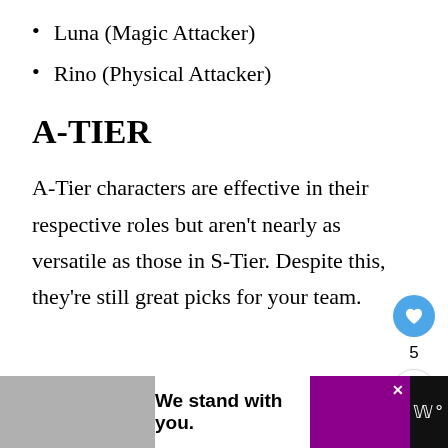Luna (Magic Attacker)
Rino (Physical Attacker)
A-TIER
A-Tier characters are effective in their respective roles but aren't nearly as versatile as those in S-Tier. Despite this, they're still great picks for your team.